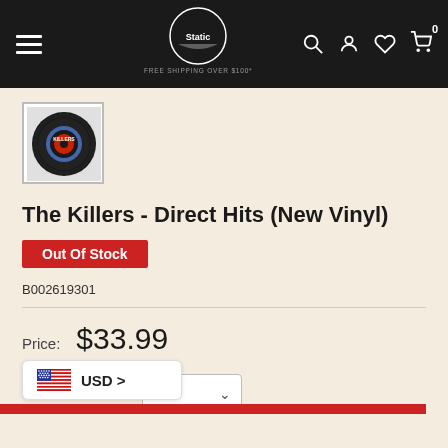[Figure (screenshot): E-commerce website header with hamburger menu, store logo (circular badge with graffiti-style branding), FREE SHIPPING OVER $100 text, and navigation icons (search, account, wishlist, cart with 0 badge)]
[Figure (photo): Album thumbnail - The Killers Direct Hits vinyl record cover showing a vinyl record graphic]
The Killers - Direct Hits (New Vinyl)
Out Of Stock
B002619301
Price:  $33.99
USD >